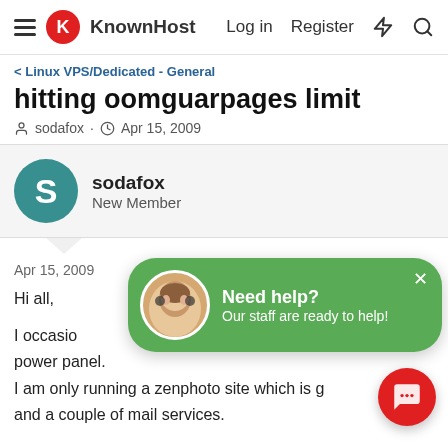KnownHost — Log in  Register
Linux VPS/Dedicated - General
hitting oomguarpages limit
sodafox · Apr 15, 2009
sodafox
New Member
Apr 15, 2009  #1
Hi all,
[Figure (infographic): Green popup overlay: Need help? Our staff are ready to help! with a headset-wearing support agent avatar and an X close button.]
I occasionally see oomguarpages limit exceeded in Plesk power panel.
I am only running a zenphoto site which is g... and a couple of mail services.
I have Cpanel running in this enviroment on 256 meg...